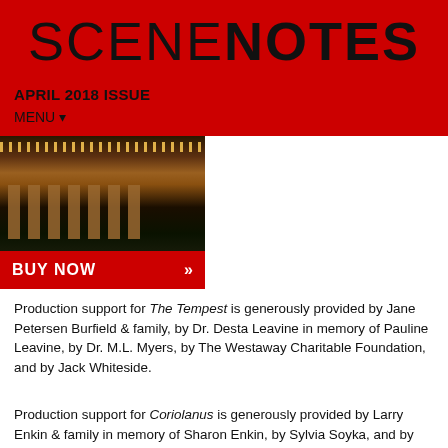SCENENOTES
APRIL 2018 ISSUE
MENU
[Figure (photo): Nighttime exterior photo of a theatre with warm string lights and columns]
BUY NOW »
Production support for The Tempest is generously provided by Jane Petersen Burfield & family, by Dr. Desta Leavine in memory of Pauline Leavine, by Dr. M.L. Myers, by The Westaway Charitable Foundation, and by Jack Whiteside.
Production support for Coriolanus is generously provided by Larry Enkin & family in memory of Sharon Enkin, by Sylvia Soyka, and by Catherine & David Wilkes.
Production Sponsor: BMO Financial Group